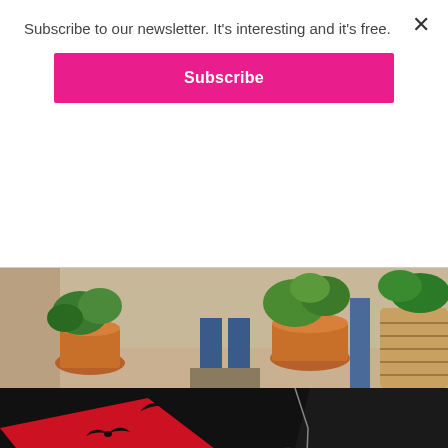Subscribe to our newsletter. It's interesting and it's free.
Subscribe
[Figure (photo): Photo strip showing potted plants with tropical foliage, baskets, and people's legs in jeans visible in the background]
[Figure (illustration): Castle Dracula & Dungeon promotional illustration featuring a cartoon Dracula character with fangs, black cape, bats flying overhead, red star burst background, and castle towers at the bottom with white text reading CASTLE DRACULA & Dungeon]